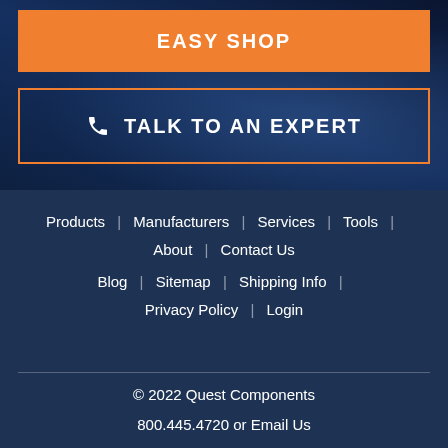EASY SHOP
TALK TO AN EXPERT
Products | Manufacturers | Services | Tools | About | Contact Us
Blog | Sitemap | Shipping Info | Privacy Policy | Login
© 2022 Quest Components
800.445.4720 or Email Us